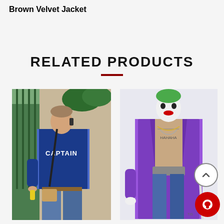Brown Velvet Jacket
RELATED PRODUCTS
[Figure (photo): Man wearing a blue Captain jacket, talking on phone, outdoors near stairs with green plants in background]
[Figure (photo): Person dressed as the Joker in a purple crocodile-skin longcoat, open chest with tattoos, holding a cane, white face paint and red lips]